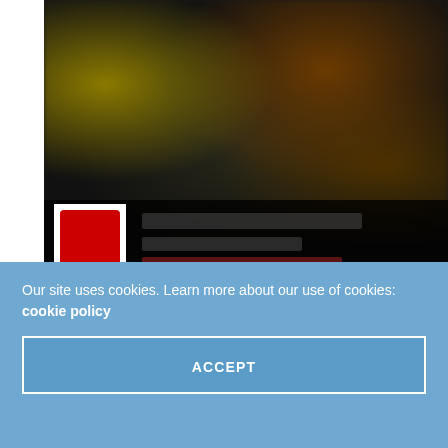[Figure (photo): Dark blurred photo of people at what appears to be a trade show or exhibition booth, with a dark overlay bar at bottom containing a logo and text lines]
Two of the world's innovators in fire/gas detection and monitoring technologies will share a booth at
Our site uses cookies. Learn more about our use of cookies: cookie policy ACCEPT